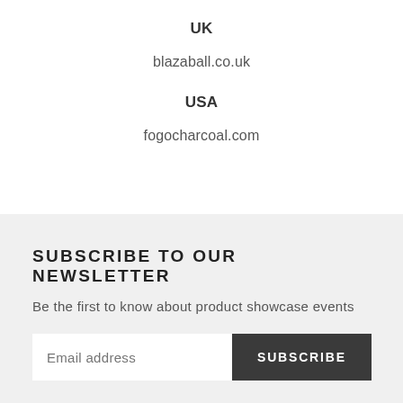UK
blazaball.co.uk
USA
fogocharcoal.com
SUBSCRIBE TO OUR NEWSLETTER
Be the first to know about product showcase events